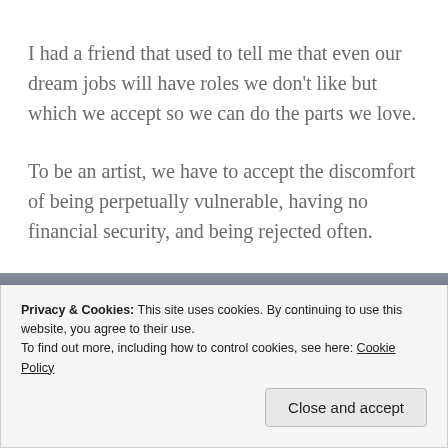I had a friend that used to tell me that even our dream jobs will have roles we don't like but which we accept so we can do the parts we love.
To be an artist, we have to accept the discomfort of being perpetually vulnerable, having no financial security, and being rejected often.
This involves putting yourself out there in front of the world... Which can be terrifying.
Privacy & Cookies: This site uses cookies. By continuing to use this website, you agree to their use. To find out more, including how to control cookies, see here: Cookie Policy
Close and accept